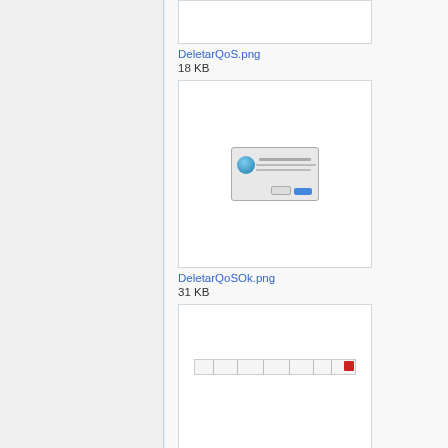[Figure (screenshot): Partial thumbnail of previous image (DeletarQoS.png) cropped at top]
DeletarQoS.png
18 KB
[Figure (screenshot): Screenshot showing a dialog box with icon, message text, Cancel and OK buttons — DeletarQoSOk.png]
DeletarQoSOk.png
31 KB
[Figure (screenshot): Screenshot showing a table row with a small red delete button on the right — DeletarRedPorta.png]
DeletarRedPorta.png